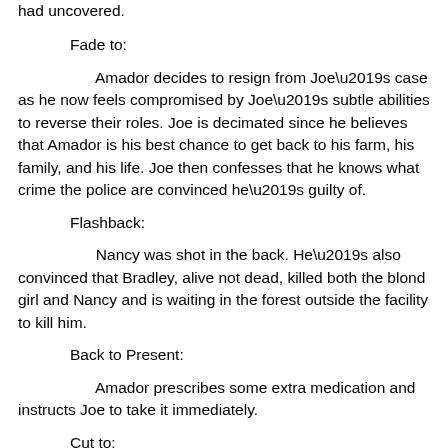had uncovered.
Fade to:
Amador decides to resign from Joe’s case as he now feels compromised by Joe’s subtle abilities to reverse their roles. Joe is decimated since he believes that Amador is his best chance to get back to his farm, his family, and his life. Joe then confesses that he knows what crime the police are convinced he’s guilty of.
Flashback:
Nancy was shot in the back. He’s also convinced that Bradley, alive not dead, killed both the blond girl and Nancy and is waiting in the forest outside the facility to kill him.
Back to Present:
Amador prescribes some extra medication and instructs Joe to take it immediately.
Cut to:
Matt’s supervisor tells him that Nancy has disappeared